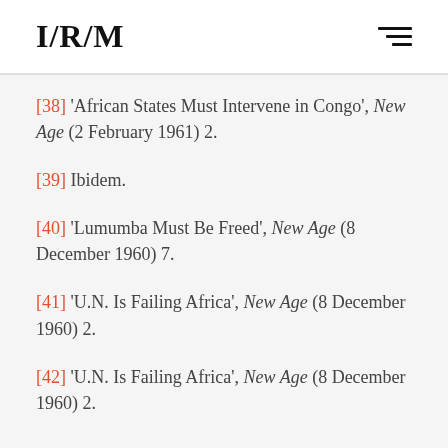I/R/M
[38] 'African States Must Intervene in Congo', New Age (2 February 1961) 2.
[39] Ibidem.
[40] 'Lumumba Must Be Freed', New Age (8 December 1960) 7.
[41] 'U.N. Is Failing Africa', New Age (8 December 1960) 2.
[42] 'U.N. Is Failing Africa', New Age (8 December 1960) 2.